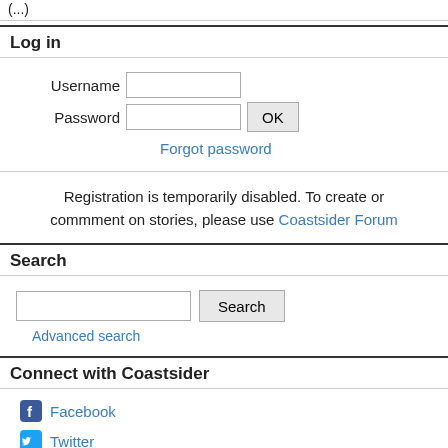(...)
Log in
Username
Password
Forgot password
Registration is temporarily disabled. To create or commment on stories, please use Coastsider Forum
Search
Advanced search
Connect with Coastsider
Facebook
Twitter
RSS